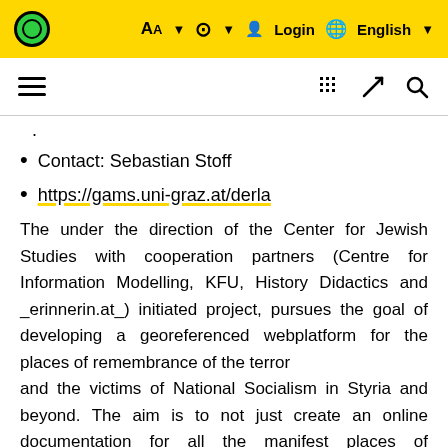Aa  ⊙  Login  🌐 English
Contact: Sebastian Stoff
https://gams.uni-graz.at/derla
The under the direction of the Center for Jewish Studies with cooperation partners (Centre for Information Modelling, KFU, History Didactics and _erinnerin.at_) initiated project, pursues the goal of developing a georeferenced webplatform for the places of remembrance of the terror and the victims of National Socialism in Styria and beyond. The aim is to not just create an online documentation for all the manifest places of remembrance in Styria, but also to discover new forms of presentation and to develop new perspectives of a digitally mediated remembrance pedagogy.